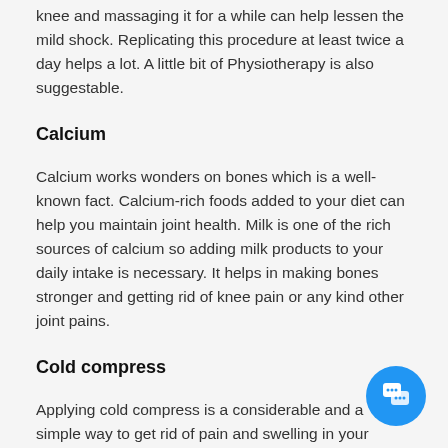knee and massaging it for a while can help lessen the mild shock. Replicating this procedure at least twice a day helps a lot. A little bit of Physiotherapy is also suggestable.
Calcium
Calcium works wonders on bones which is a well-known fact. Calcium-rich foods added to your diet can help you maintain joint health. Milk is one of the rich sources of calcium so adding milk products to your daily intake is necessary. It helps in making bones stronger and getting rid of knee pain or any kind other joint pains.
Cold compress
Applying cold compress is a considerable and a simple way to get rid of pain and swelling in your